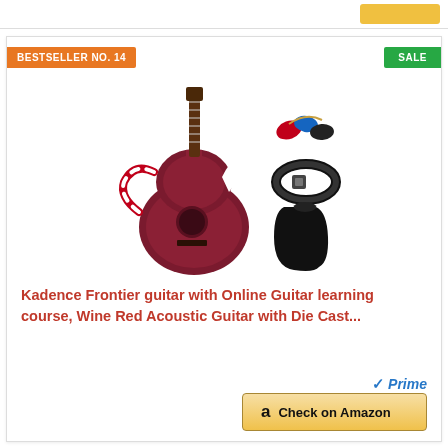BESTSELLER NO. 14
SALE
[Figure (photo): Wine red acoustic guitar with accessories including picks, strap, and guitar bag]
Kadence Frontier guitar with Online Guitar learning course, Wine Red Acoustic Guitar with Die Cast...
Prime
Check on Amazon